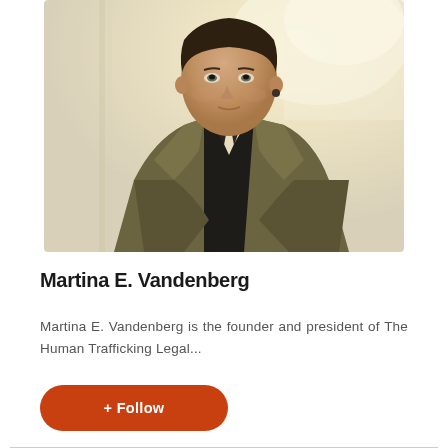[Figure (photo): Portrait photo of Martina E. Vandenberg, a woman in a dark olive/khaki blazer over a black top, with short dark hair, looking slightly to her left. Background is softly blurred with warm light tones.]
Martina E. Vandenberg
Martina E. Vandenberg is the founder and president of The Human Trafficking Legal...
+ Follow